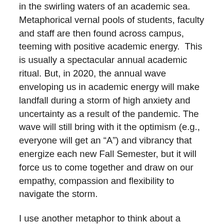in the swirling waters of an academic sea. Metaphorical vernal pools of students, faculty and staff are then found across campus, teeming with positive academic energy.  This is usually a spectacular annual academic ritual. But, in 2020, the annual wave enveloping us in academic energy will make landfall during a storm of high anxiety and uncertainty as a result of the pandemic. The wave will still bring with it the optimism (e.g., everyone will get an “A”) and vibrancy that energize each new Fall Semester, but it will force us to come together and draw on our empathy, compassion and flexibility to navigate the storm.
I use another metaphor to think about a university. In this metaphor, the university is an ecosystem sustained by the integrated functions of academics, student life and the functions that support them. There are three inputs into this ecosystem — students, funding and faculty/staff — and three simple but extraordinarily